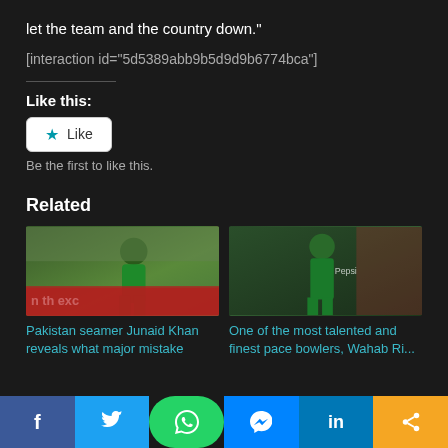let the team and the country down."
[interaction id="5d5389abb9b5d9d9b6774bca"]
Like this:
Like
Be the first to like this.
Related
[Figure (photo): Pakistan cricket player in green uniform running on field, text banner visible reading 'n th exc']
Pakistan seamer Junaid Khan reveals what major mistake
[Figure (photo): Pakistan cricket player in green uniform on cricket field at night]
One of the most talented and finest pace bowlers, Wahab Ri...
f  Twitter  WhatsApp  Messenger  in  Share